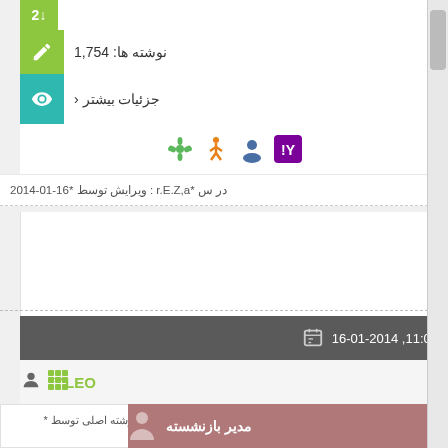↓2
نوشته ها: 1,754
جزئیات بیشتر ›
[Figure (infographic): Social media icons: Yahoo, user avatar, runner figure, flower/asterisk icon]
ویرایش توسط *16-01-2014 : r.E.Z.a* در س
16-01-2014 ,11:01
LEO™
نوشته اصلی توسط *
مدیر بازنشسته